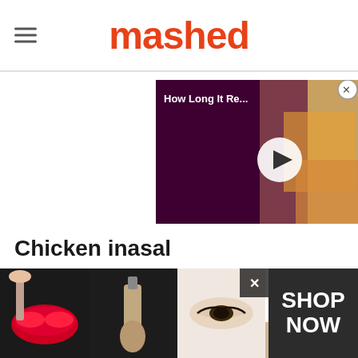mashed
[Figure (screenshot): Video thumbnail overlay showing 'How Long It Re...' title with a play button on a dark purple background with food imagery]
Chicken inasal
[Figure (photo): Close-up photograph of chicken inasal dish on a plate, with yellow pickled papaya (atchara), chili peppers, and dipping sauce in a bowl]
[Figure (photo): Ulta Beauty advertisement banner with beauty/makeup imagery and 'SHOP NOW' call to action]